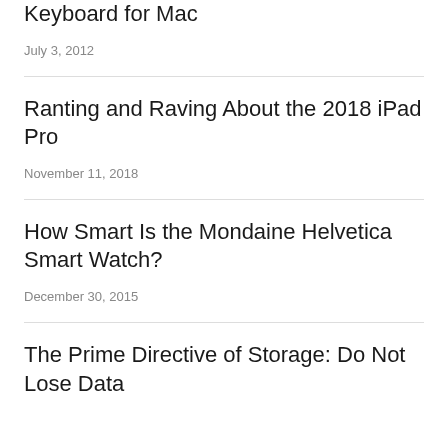Keyboard for Mac
July 3, 2012
Ranting and Raving About the 2018 iPad Pro
November 11, 2018
How Smart Is the Mondaine Helvetica Smart Watch?
December 30, 2015
The Prime Directive of Storage: Do Not Lose Data